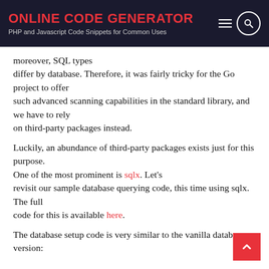ONLINE CODE GENERATOR
PHP and Javascript Code Snippets for Common Uses
moreover, SQL types differ by database. Therefore, it was fairly tricky for the Go project to offer such advanced scanning capabilities in the standard library, and we have to rely on third-party packages instead.
Luckily, an abundance of third-party packages exists just for this purpose. One of the most prominent is sqlx. Let's revisit our sample database querying code, this time using sqlx. The full code for this is available here.
The database setup code is very similar to the vanilla database version: